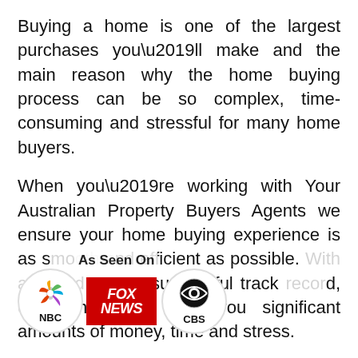Buying a home is one of the largest purchases you’ll make and the main reason why the home buying process can be so complex, time-consuming and stressful for many home buyers.
When you’re working with Your Australian Property Buyers Agents we ensure your home buying experience is as smooth and efficient as possible. With a Based on our successful track record, our  consultants have you significant amounts of money, time and stress.
[Figure (logo): As Seen On overlay with NBC, Fox News, and CBS logos]
Our team of independent Home Buyers Agents Melbourne consultants